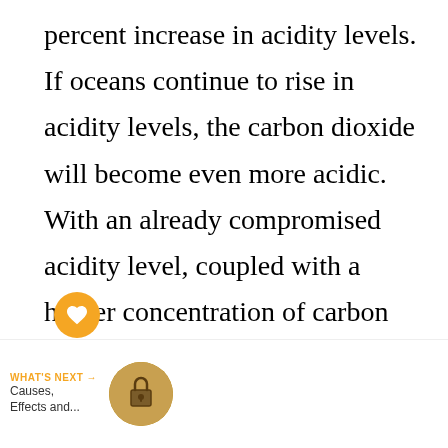percent increase in acidity levels. If oceans continue to rise in acidity levels, the carbon dioxide will become even more acidic. With an already compromised acidity level, coupled with a higher concentration of carbon dioxide, oceans have the possibility of becoming one hundred and fifty percent more acidic. If steps are not taken to reduce carbon dioxide levels in the ocean and business goes on as usual, the oceans can expect to have
[Figure (screenshot): UI overlay showing a heart/favorite button (orange circle with heart icon) and a share button (white circle with share icon), plus a 'What's Next' navigation bar at the bottom with label, 'Causes, Effects and...' text, and a circular thumbnail image of a lock/mechanism.]